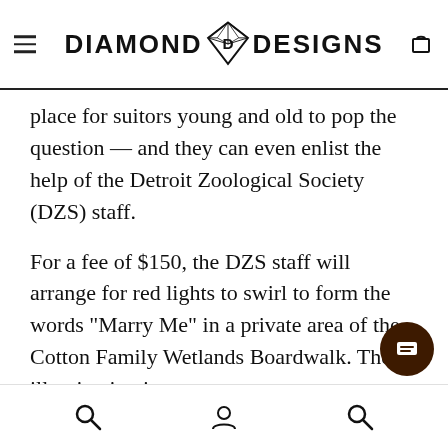DIAMOND DESIGNS
place for suitors young and old to pop the question — and they can even enlist the help of the Detroit Zoological Society (DZS) staff.
For a fee of $150, the DZS staff will arrange for red lights to swirl to form the words "Marry Me" in a private area of the Cotton Family Wetlands Boardwalk. The illumination is
Search | Account | Search